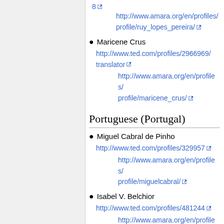8 http://www.amara.org/en/profiles/profile/ruy_lopes_pereira/
Maricene Crus http://www.ted.com/profiles/2966969/translator http://www.amara.org/en/profiles/profile/maricene_crus/
Portuguese (Portugal)
Miguel Cabral de Pinho http://www.ted.com/profiles/329957 http://www.amara.org/en/profiles/profile/miguelcabral/
Isabel V. Belchior http://www.ted.com/profiles/481244 http://www.amara.org/en/profiles/profile/isabellchior/